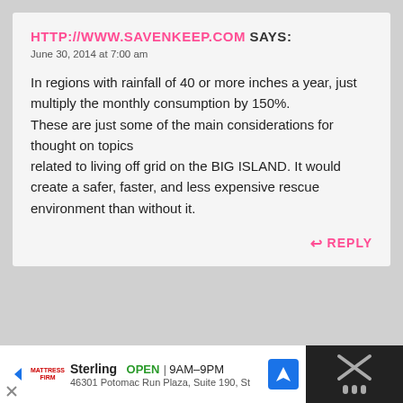HTTP://WWW.SAVENKEEP.COM SAYS:
June 30, 2014 at 7:00 am
In regions with rainfall of 40 or more inches a year, just multiply the monthly consumption by 150%. These are just some of the main considerations for thought on topics related to living off grid on the BIG ISLAND. It would create a safer, faster, and less expensive rescue environment than without it.
REPLY
Sterling  OPEN  9AM–9PM  46301 Potomac Run Plaza, Suite 190, St